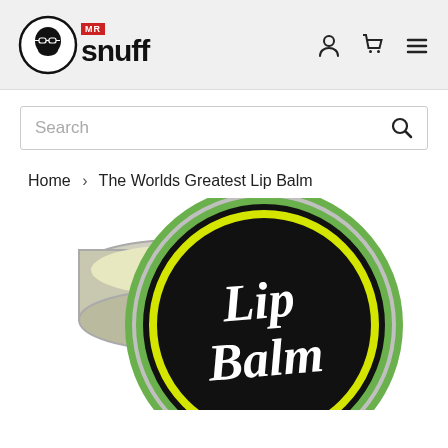Mr Snuff - navigation header with logo, account, cart, and menu icons
Search
Home > The Worlds Greatest Lip Balm
[Figure (photo): An open round metal tin of 'The Worlds Greatest Lip Balm' with a black and green label. The tin lid shows a green ring border and the text 'THE WORLDS GREATEST' arcing at the top, with 'Lip Balm' in white script on a black background. The tin base reveals the cream-colored balm inside. The image is cropped at the bottom.]